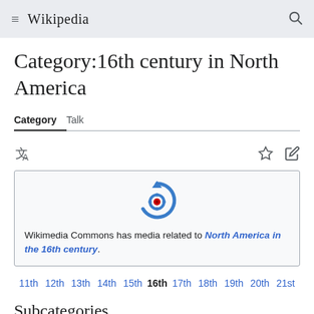≡ WIKIPEDIA 🔍
Category:16th century in North America
Category  Talk
[Figure (logo): Wikimedia Commons logo — circular arrow with red dot in center]
Wikimedia Commons has media related to North America in the 16th century.
11th 12th 13th 14th 15th 16th 17th 18th 19th 20th 21st
Subcategories
This category has the following 26 subcategories, out of